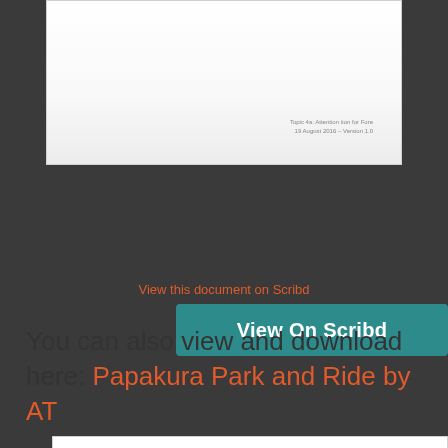[Figure (screenshot): Document preview thumbnail showing a white page with small text at bottom right reading 'Topic 4a: Attention tion for Fore' and '19 August 2016 - Version 1.0']
View On Scribd
1 of 12
View this document on Scribd
You can also view and download here: Papakura Park and Ride by AT